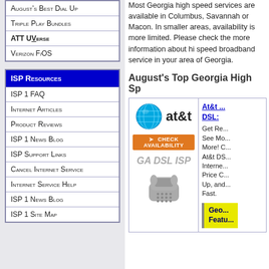August's Best Dial Up
Triple Play Bundles
ATT UVerse
Verizon FiOS
ISP Resources
ISP 1 FAQ
Internet Articles
Product Reviews
ISP 1 News Blog
ISP Support Links
Cancel Internet Service
Internet Service Help
ISP 1 News Blog
ISP 1 Site Map
Most Georgia high speed services are available in Columbus, Savannah or Macon. In smaller areas, availability is more limited. Please check the map for more information about hi speed broadband service in your area of Georgia.
August's Top Georgia High Sp...
[Figure (logo): AT&T globe logo with at&t text, CHECK AVAILABILITY orange button, GA DSL ISP italic gray text, gray telephone icon]
At&t ... DSL: Get Re... See Mo... More! C... At&t DS... Interne... Price C... Up, and... Fast.
Geo... Featu...